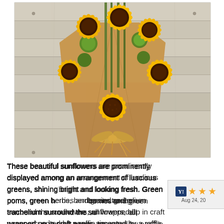[Figure (photo): A bouquet of sunflowers with dark brown centers and bright yellow petals, arranged with green accents (green poms, hypericum berries, trachelium), all wrapped in kraft/craft brown paper and tied with a raffia bow, photographed against a weathered light gray wooden plank background.]
These beautiful sunflowers are prominently displayed among an arrangement of luscious greens, shining bright and looking fresh. Green poms, green hypericum berries and green trachelium surround the sunflowers, all wrapped up in craft paper, accented by a raffia tie.